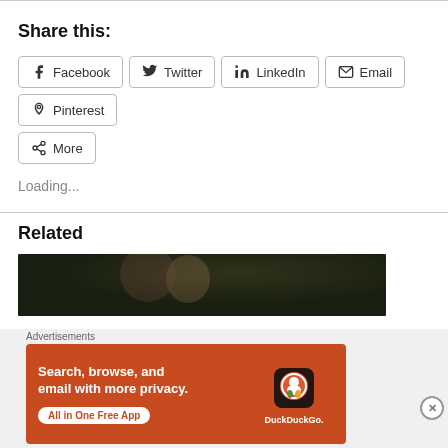Share this:
Facebook
Twitter
LinkedIn
Email
Pinterest
More
Loading...
Related
[Figure (photo): Partially visible photo of people outdoors with dark green foliage background]
Advertisements
[Figure (infographic): DuckDuckGo advertisement banner with orange background. Text reads: Search, browse, and email with more privacy. All in One Free App. DuckDuckGo logo and phone mockup shown.]